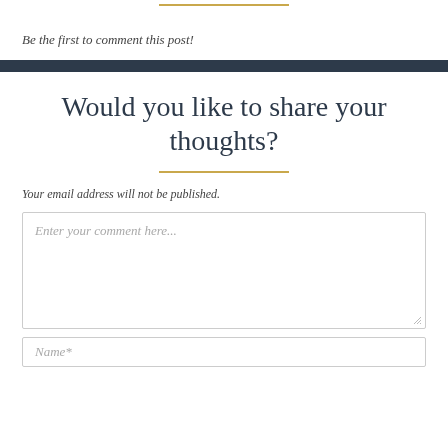Be the first to comment this post!
Would you like to share your thoughts?
Your email address will not be published.
Enter your comment here...
Name*